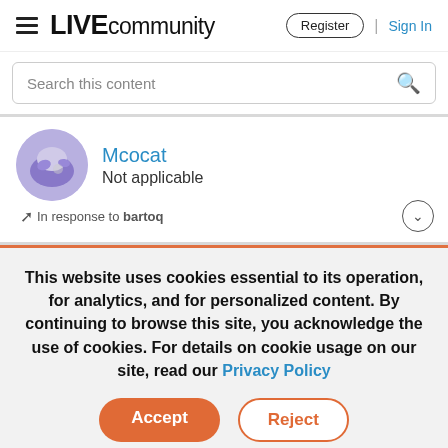LIVE community   Register | Sign In
Search this content
Mcocat
Not applicable
In response to bartoq
This website uses cookies essential to its operation, for analytics, and for personalized content. By continuing to browse this site, you acknowledge the use of cookies. For details on cookie usage on our site, read our Privacy Policy
Accept   Reject